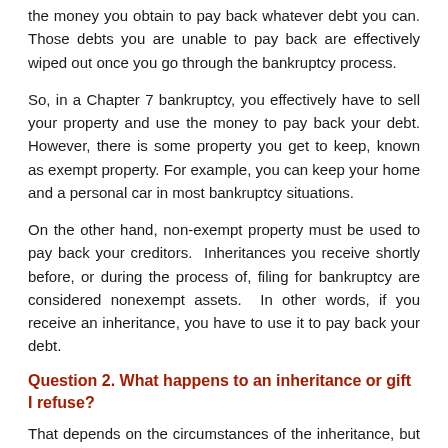the money you obtain to pay back whatever debt you can. Those debts you are unable to pay back are effectively wiped out once you go through the bankruptcy process.
So, in a Chapter 7 bankruptcy, you effectively have to sell your property and use the money to pay back your debt. However, there is some property you get to keep, known as exempt property. For example, you can keep your home and a personal car in most bankruptcy situations.
On the other hand, non-exempt property must be used to pay back your creditors.  Inheritances you receive shortly before, or during the process of, filing for bankruptcy are considered nonexempt assets.  In other words, if you receive an inheritance, you have to use it to pay back your debt.
Question 2. What happens to an inheritance or gift I refuse?
That depends on the circumstances of the inheritance, but there are some common outcomes. For example, let's say you